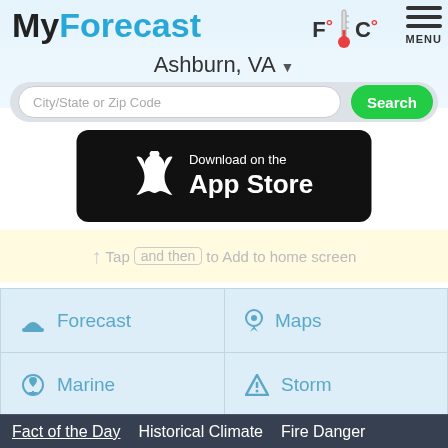MyForecast
F° C° MENU
Ashburn, VA ▼
City/State or Zip Code
Search
[Figure (screenshot): Download on the App Store badge (black rounded rectangle with Apple logo)]
Tap   and then   to Add to home screen
☁ Forecast
📍 Maps
⚓ Marine
⚠ Storm
Special Reports
Fact of the Day
Historical Climate
Fire Danger
Earthquake Reports
Ski Reports